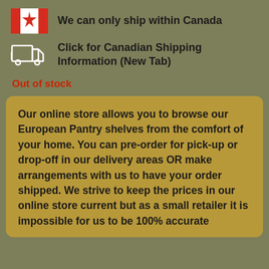We can only ship within Canada
Click for Canadian Shipping Information (New Tab)
Out of stock
Our online store allows you to browse our European Pantry shelves from the comfort of your home. You can pre-order for pick-up or drop-off in our delivery areas OR make arrangements with us to have your order shipped. We strive to keep the prices in our online store current but as a small retailer it is impossible for us to be 100% accurate